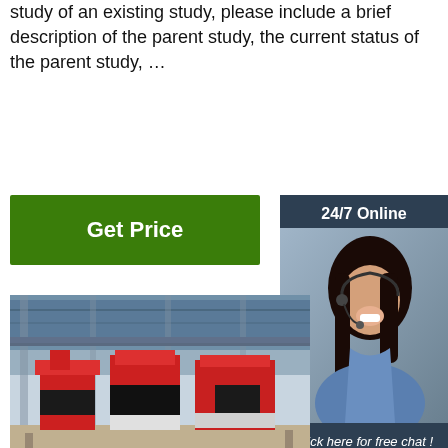study of an existing study, please include a brief description of the parent study, the current status of the parent study, …
[Figure (other): Green 'Get Price' button]
[Figure (other): 24/7 Online sidebar with customer service representative photo, 'Click here for free chat!' text, and orange QUOTATION button]
[Figure (photo): Industrial factory interior showing large red, black, and white machinery/equipment under a blue metal roof structure]